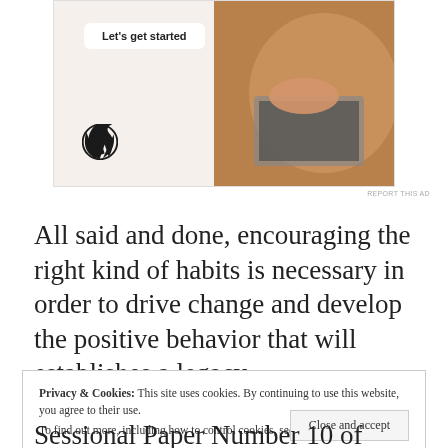[Figure (screenshot): WordPress advertisement banner with 'Let's get started' button, WordPress logo, and a photo of a person typing on a laptop]
REPORT THIS AD
All said and done, encouraging the right kind of habits is necessary in order to drive change and develop the positive behavior that will establishes a legacy.
Privacy & Cookies: This site uses cookies. By continuing to use this website, you agree to their use.
To find out more, including how to control cookies, see here: Cookie Policy
Sessional Paper Number 10 of 1965. In it we